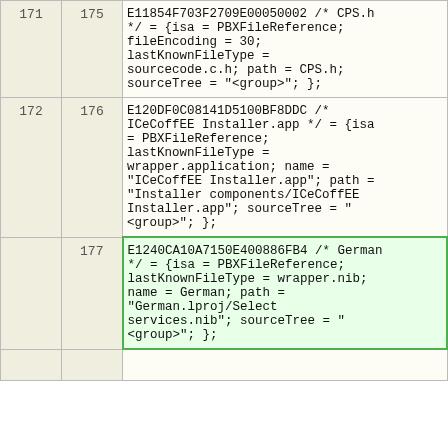|  |  | code |
| --- | --- | --- |
| 171 | 175 | E11854F703F2709E00050002 /* CPS.h */ = {isa = PBXFileReference; fileEncoding = 30; lastKnownFileType = sourcecode.c.h; path = CPS.h; sourceTree = "<group>"; }; |
| 172 | 176 | E120DF0C08141D5100BF8DDC /* ICeCoffEE Installer.app */ = {isa = PBXFileReference; lastKnownFileType = wrapper.application; name = "ICeCoffEE Installer.app"; path = "Installer components/ICeCoffEE Installer.app"; sourceTree = "<group>"; }; |
|  | 177 | E1240CA10A7150E400886FB4 /* German */ = {isa = PBXFileReference; lastKnownFileType = wrapper.nib; name = German; path = "German.lproj/Select services.nib"; sourceTree = "<group>"; }; |
|  |  |  |